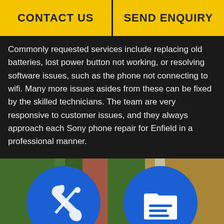CONTACT US | SEND ENQUIRY
Commonly requested services include replacing old batteries, lost power button not working, or resolving software issues, such as the phone not connecting to wifi. Many more issues asides from these can be fixed by the skilled technicians. The team are very responsive to customer issues, and they always approach each Sony phone repair for Enfield in a professional manner.
[Figure (photo): Blurred outdoor background with green foliage and colorful vertical elements, featuring two large blue circular icons at the bottom — one showing a wrench/tools icon and one showing a folder/document icon.]